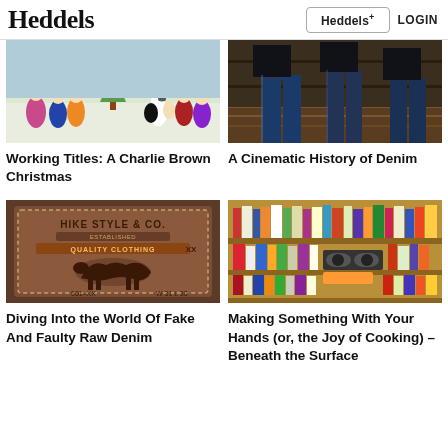Heddels | Heddels+ | LOGIN
[Figure (photo): Charlie Brown Christmas cartoon characters standing around a small tree]
Working Titles: A Charlie Brown Christmas
[Figure (photo): People wearing denim jeans standing near bookshelves in a cinematic shot]
A Cinematic History of Denim
[Figure (photo): Close-up of a Levi's style leather patch label on jeans reading HIKE STYLE & CO. QUALITY CLOTHING XX 501-XX]
Diving Into the World Of Fake And Faulty Raw Denim
[Figure (photo): Bookshelves filled with colorful books and cooking materials]
Making Something With Your Hands (or, the Joy of Cooking) – Beneath the Surface